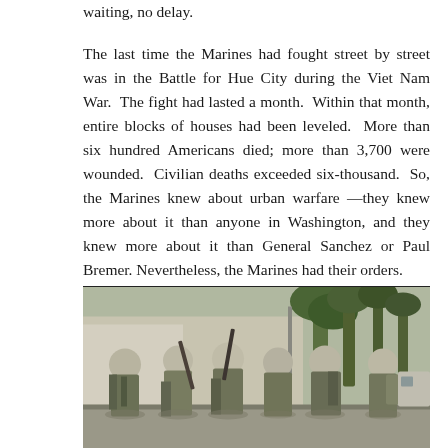waiting, no delay.
The last time the Marines had fought street by street was in the Battle for Hue City during the Viet Nam War. The fight had lasted a month. Within that month, entire blocks of houses had been leveled. More than six hundred Americans died; more than 3,700 were wounded. Civilian deaths exceeded six-thousand. So, the Marines knew about urban warfare —they knew more about it than anyone in Washington, and they knew more about it than General Sanchez or Paul Bremer. Nevertheless, the Marines had their orders.
[Figure (photo): A group of U.S. Marines in combat gear and helmets, holding rifles, standing together on a street with palm trees and a wall visible in the background.]